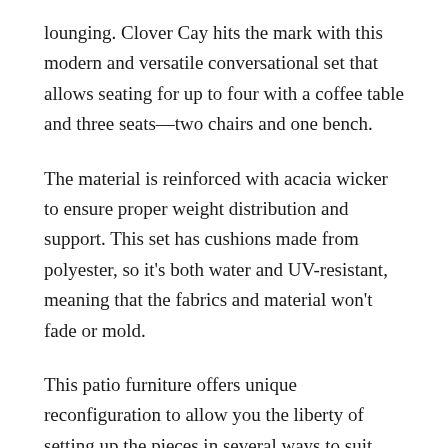lounging. Clover Cay hits the mark with this modern and versatile conversational set that allows seating for up to four with a coffee table and three seats—two chairs and one bench.
The material is reinforced with acacia wicker to ensure proper weight distribution and support. This set has cushions made from polyester, so it's both water and UV-resistant, meaning that the fabrics and material won't fade or mold.
This patio furniture offers unique reconfiguration to allow you the liberty of setting up the pieces in several ways to suit your needs. It comes with extremely comfortable cushion seating that will allow you to